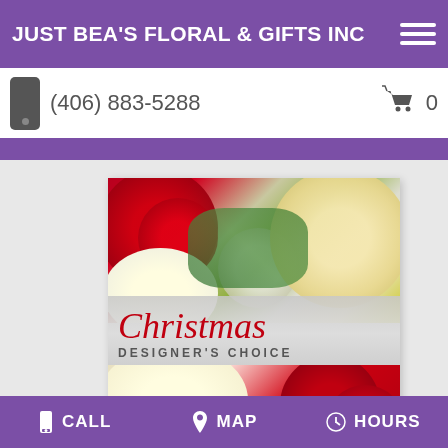JUST BEA'S FLORAL & GIFTS INC
(406) 883-5288
[Figure (photo): Christmas Designer's Choice floral arrangement featuring red carnations, white gerbera daisies, and small white wax flowers. Overlaid text reads 'Christmas DESIGNER'S CHOICE' in red script and gray block letters.]
CALL   MAP   HOURS